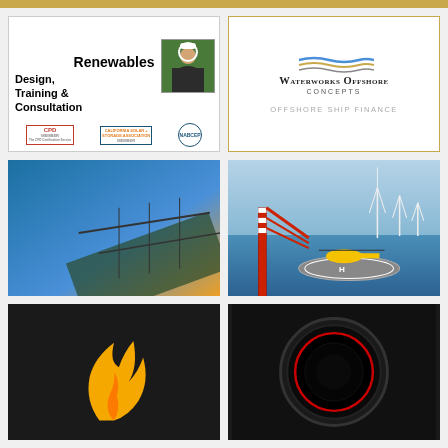[Figure (logo): Renewables Design, Training & Consultation advertisement with CPD Member, California Solar + Storage Association, and NABCEP badges]
[Figure (logo): Waterworks Offshore Concepts - Offshore Ship Finance logo with gold border and wave motif]
[Figure (photo): Pfeiffer Vacuum advertisement: Need High Pumping Speed? with solar panel background]
[Figure (photo): Offshore wind farm with helicopter on oil platform helipad]
[Figure (logo): Orange flame/figure logo on dark background]
[Figure (photo): Dark circular mechanical component with red accent ring]